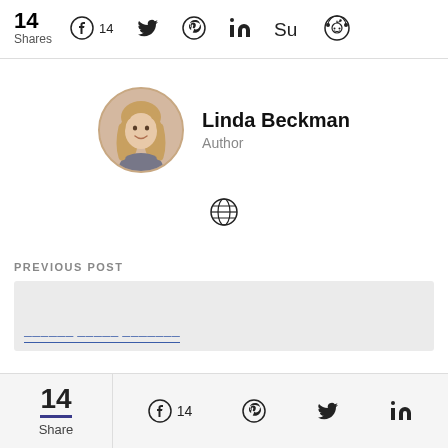14 Shares — Facebook 14, Twitter, Pinterest, LinkedIn, StumbleUpon, Reddit
Linda Beckman — Author
[Figure (other): Globe/web icon]
PREVIOUS POST
[Figure (other): Previous post thumbnail strip with partially visible blue link text]
14 Share — Facebook 14, Pinterest, Twitter, LinkedIn (bottom sticky bar)